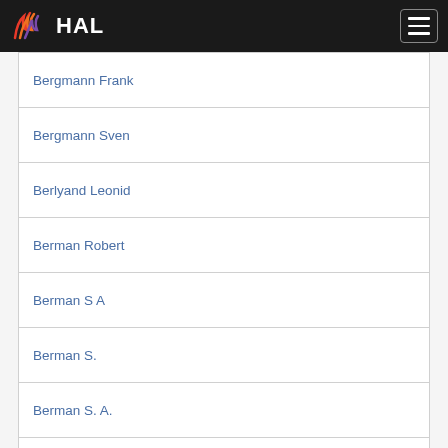HAL
Bergmann Frank
Bergmann Sven
Berlyand Leonid
Berman Robert
Berman S A
Berman S.
Berman S. A.
Berman Simon
Berman Simon A.
Bernard Monique
Bernat Julien